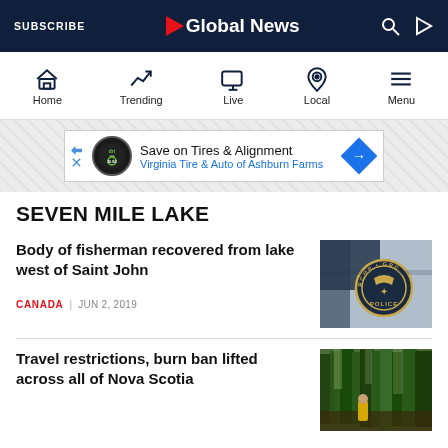SUBSCRIBE | Global News
[Figure (screenshot): Global News mobile app navigation bar with Home, Trending, Live, Local, Menu icons]
[Figure (screenshot): Advertisement banner: Save on Tires & Alignment - Virginia Tire & Auto of Ashburn Farms]
SEVEN MILE LAKE
Body of fisherman recovered from lake west of Saint John
CANADA | JUN 2, 2019
[Figure (photo): Close-up of RCMP/GRC police shoulder badge on uniform]
Travel restrictions, burn ban lifted across all of Nova Scotia
[Figure (photo): Person in yellow jacket in forest among tall trees]